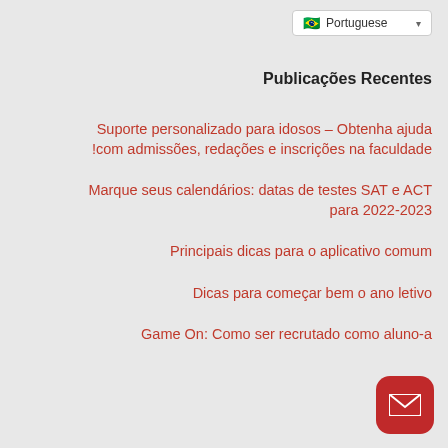Portuguese 🇧🇷 ▼
Publicações Recentes
Suporte personalizado para idosos – Obtenha ajuda com admissões, redações e inscrições na faculdade!
Marque seus calendários: datas de testes SAT e ACT para 2022-2023
Principais dicas para o aplicativo comum
Dicas para começar bem o ano letivo
Game On: Como ser recrutado como aluno-a